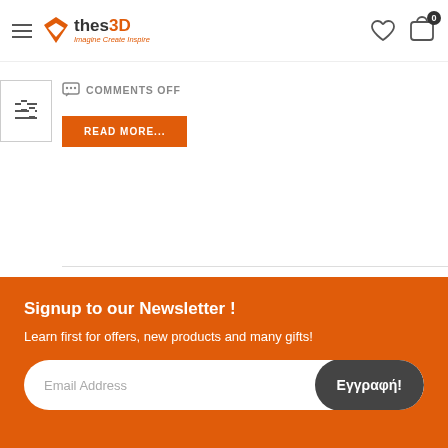thes3D - Imagine Create Inspire
COMMENTS OFF
READ MORE...
Signup to our Newsletter !
Learn first for offers, new products and many gifts!
Email Address
Εγγραφή!